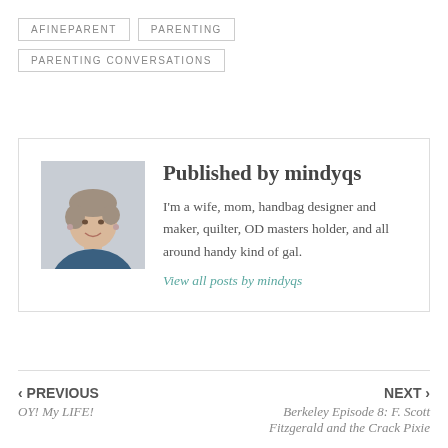AFINEPARENT
PARENTING
PARENTING CONVERSATIONS
Published by mindyqs
I'm a wife, mom, handbag designer and maker, quilter, OD masters holder, and all around handy kind of gal.
View all posts by mindyqs
‹ PREVIOUS
OY! My LIFE!
NEXT ›
Berkeley Episode 8: F. Scott Fitzgerald and the Crack Pixie